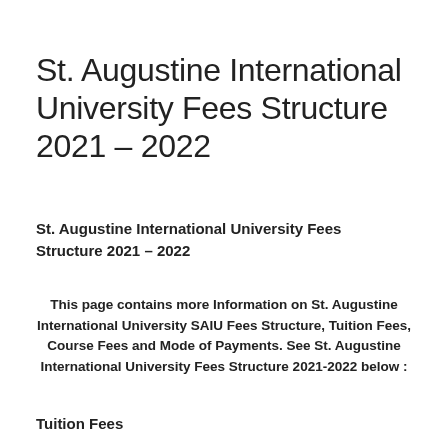St. Augustine International University Fees Structure 2021 – 2022
St. Augustine International University Fees Structure 2021 – 2022
This page contains more Information on St. Augustine International University SAIU Fees Structure, Tuition Fees, Course Fees and Mode of Payments. See St. Augustine International University Fees Structure 2021-2022 below :
Tuition Fees